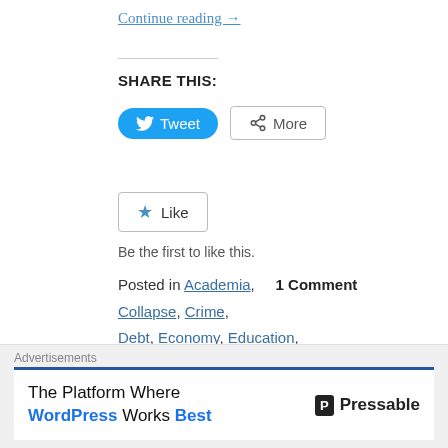Continue reading →
SHARE THIS:
[Figure (other): Tweet and More share buttons]
[Figure (other): Like button widget]
Be the first to like this.
Posted in Academia, Collapse, Crime, Debt, Economy, Education, Government, Morality, Politics, Society, Taxes   1 Comment
Tagged American youth, college, Families, Job market, Schools
Advertisements
[Figure (other): Pressable WordPress advertisement banner]